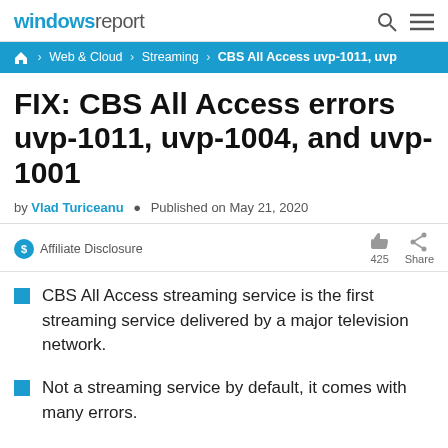windows report
Home › Web & Cloud › Streaming › CBS All Access uvp-1011, uvp…
FIX: CBS All Access errors uvp-1011, uvp-1004, and uvp-1001
by Vlad Turiceanu • Published on May 21, 2020
$ Affiliate Disclosure  425  Share
CBS All Access streaming service is the first streaming service delivered by a major television network.
Not a streaming service by default, it comes with many errors.